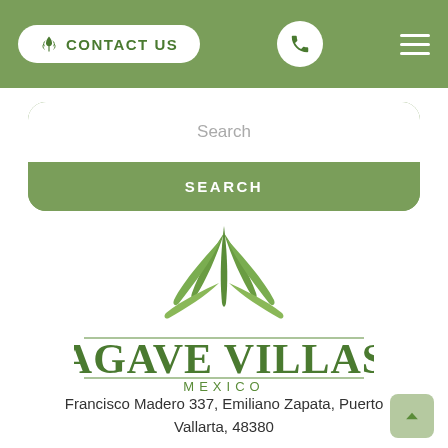CONTACT US
Search
SEARCH
[Figure (logo): Agave Villas Mexico logo — green agave plant illustration above the text AGAVE VILLAS in large serif capitals, with MEXICO in spaced small caps and decorative horizontal lines]
Francisco Madero 337, Emiliano Zapata, Puerto Vallarta, 48380